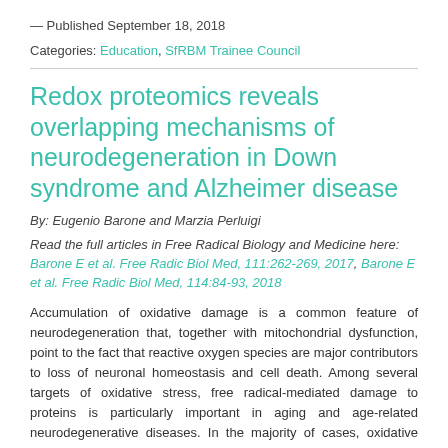— Published September 18, 2018
Categories: Education, SfRBM Trainee Council
Redox proteomics reveals overlapping mechanisms of neurodegeneration in Down syndrome and Alzheimer disease
By: Eugenio Barone and Marzia Perluigi
Read the full articles in Free Radical Biology and Medicine here: Barone E et al. Free Radic Biol Med, 111:262-269, 2017, Barone E et al. Free Radic Biol Med, 114:84-93, 2018
Accumulation of oxidative damage is a common feature of neurodegeneration that, together with mitochondrial dysfunction, point to the fact that reactive oxygen species are major contributors to loss of neuronal homeostasis and cell death. Among several targets of oxidative stress, free radical-mediated damage to proteins is particularly important in aging and age-related neurodegenerative diseases. In the majority of cases, oxidative stress mediated post-translational modifications cause non-reversible modifications of protein structure that consistently lead to impaired function.